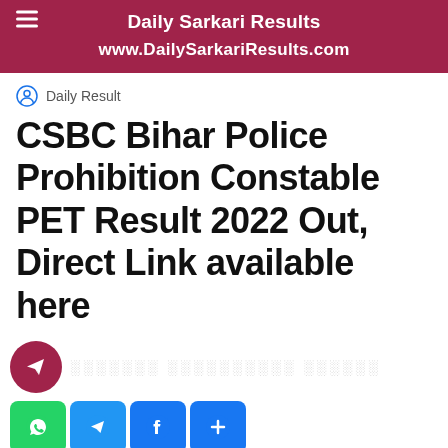Daily Sarkari Results
www.DailySarkariResults.com
Daily Result
CSBC Bihar Police Prohibition Constable PET Result 2022 Out, Direct Link available here
[Figure (other): Social sharing bar with Telegram circle button and Hindi text, plus WhatsApp, Telegram, Facebook, and share social media icon buttons]